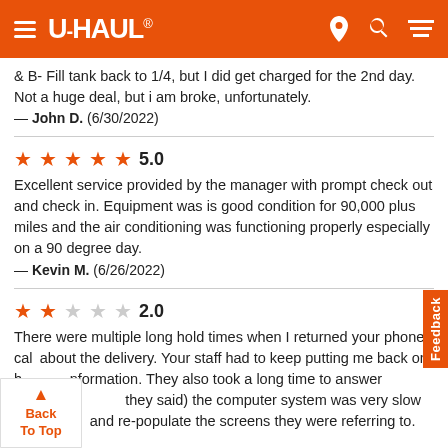U-HAUL navigation header
& B- Fill tank back to 1/4, but I did get charged for the 2nd day. Not a huge deal, but i am broke, unfortunately.
— John D.  (6/30/2022)
5.0 — Excellent service provided by the manager with prompt check out and check in. Equipment was is good condition for 90,000 plus miles and the air conditioning was functioning properly especially on a 90 degree day.
— Kevin M.  (6/26/2022)
2.0 — There were multiple long hold times when I returned your phone call about the delivery. Your staff had to keep putting me back on hold for information. They also took a long time to answer questions about (they said) the computer system was very slow to populate and re-populate the screens they were referring to.